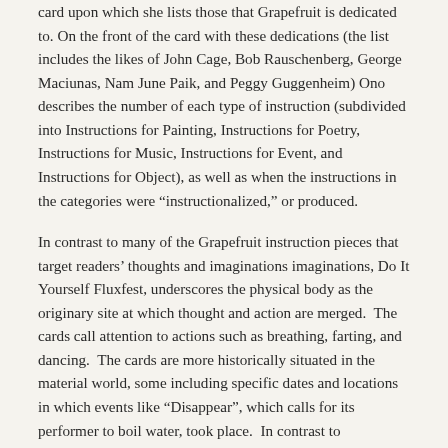card upon which she lists those that Grapefruit is dedicated to. On the front of the card with these dedications (the list includes the likes of John Cage, Bob Rauschenberg, George Maciunas, Nam June Paik, and Peggy Guggenheim) Ono describes the number of each type of instruction (subdivided into Instructions for Painting, Instructions for Poetry, Instructions for Music, Instructions for Event, and Instructions for Object), as well as when the instructions in the categories were “instructionalized,” or produced.
In contrast to many of the Grapefruit instruction pieces that target readers’ thoughts and imaginations imaginations, Do It Yourself Fluxfest, underscores the physical body as the originary site at which thought and action are merged.  The cards call attention to actions such as breathing, farting, and dancing.  The cards are more historically situated in the material world, some including specific dates and locations in which events like “Disappear”, which calls for its performer to boil water, took place.  In contrast to Grapefruit’s more cerebral emphasis, the often-humorous instructions in Do it Yourself are viscerally corporeal, accentuating how integral our bodies are to our thoughts.
The event scores of George Brecht confound the boundaries between text and performance and beg the question of where the event is